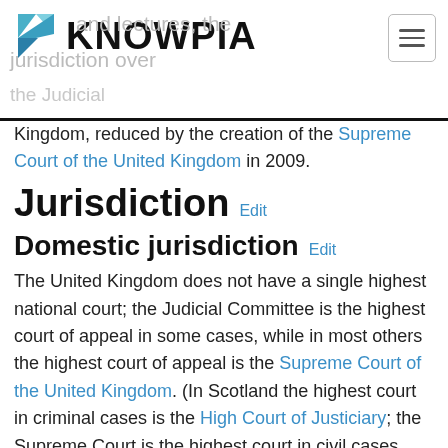KNOWPIA
Kingdom, reduced by the creation of the Supreme Court of the United Kingdom in 2009.
Jurisdiction  Edit
Domestic jurisdiction  Edit
The United Kingdom does not have a single highest national court; the Judicial Committee is the highest court of appeal in some cases, while in most others the highest court of appeal is the Supreme Court of the United Kingdom. (In Scotland the highest court in criminal cases is the High Court of Justiciary; the Supreme Court is the highest court in civil cases matters arising from Scottish devolution, the latter previously having been dealt with by the Judicial